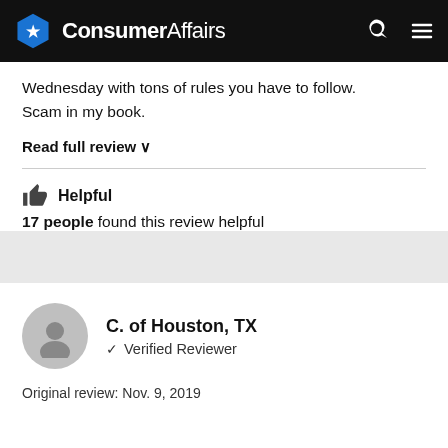ConsumerAffairs
Wednesday with tons of rules you have to follow. Scam in my book.
Read full review ∨
👍 Helpful
17 people found this review helpful
C. of Houston, TX
✓ Verified Reviewer
Original review: Nov. 9, 2019